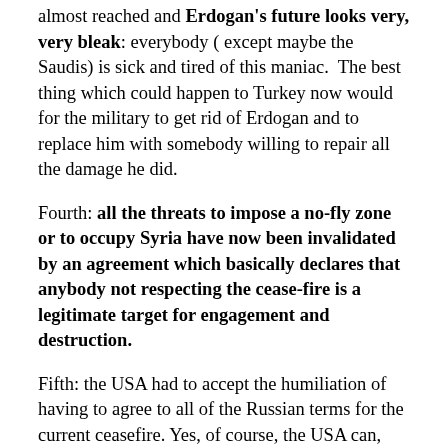almost reached and Erdogan's future looks very, very bleak: everybody ( except maybe the Saudis) is sick and tired of this maniac.  The best thing which could happen to Turkey now would for the military to get rid of Erdogan and to replace him with somebody willing to repair all the damage he did.
Fourth: all the threats to impose a no-fly zone or to occupy Syria have now been invalidated by an agreement which basically declares that anybody not respecting the cease-fire is a legitimate target for engagement and destruction.
Fifth: the USA had to accept the humiliation of having to agree to all of the Russian terms for the current ceasefire. Yes, of course, the USA can, and probably will, try renege on part, or all, of this agreement, but the precedent has been set and it will be very hard, if not impossible, for the USA to openly return to the pre-2016 policies.